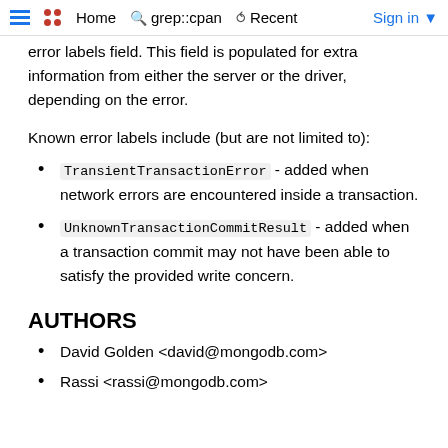Home | grep::cpan | Recent | Sign in
From MongoDB 4.0 onwards, errors may contain an error labels field. This field is populated for extra information from either the server or the driver, depending on the error.
Known error labels include (but are not limited to):
TransientTransactionError - added when network errors are encountered inside a transaction.
UnknownTransactionCommitResult - added when a transaction commit may not have been able to satisfy the provided write concern.
AUTHORS
David Golden <david@mongodb.com>
Rassi <rassi@mongodb.com>